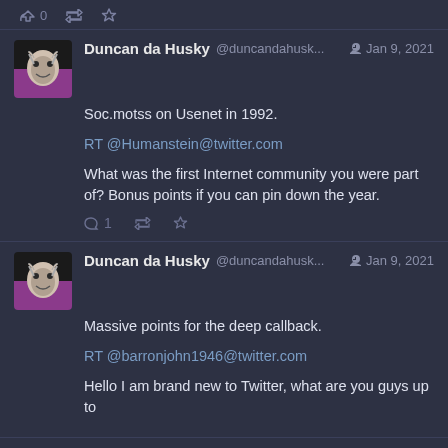[Figure (screenshot): Action bar with reply (0), retweet, and star icons]
Duncan da Husky @duncandahusk... Jan 9, 2021
Soc.motss on Usenet in 1992.

RT @Humanstein@twitter.com

What was the first Internet community you were part of? Bonus points if you can pin down the year.
Duncan da Husky @duncandahusk... Jan 9, 2021
Massive points for the deep callback.

RT @barronjohn1946@twitter.com

Hello I am brand new to Twitter, what are you guys up to